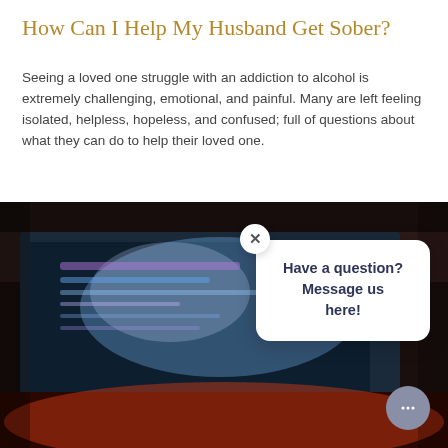How Can I Help My Husband Get Sober?
Seeing a loved one struggle with an addiction to alcohol is extremely challenging, emotional, and painful. Many are left feeling isolated, helpless, hopeless, and confused; full of questions about what they can do to help their loved one.
[Figure (photo): Dark photo of a computer monitor with colorful screen glow, showing a gaming setup with reddish ambient lighting at the bottom. Overlaid is a white chat popup with text 'Have a question? Message us here!' and a close (X) button, plus a chat icon button in the lower right.]